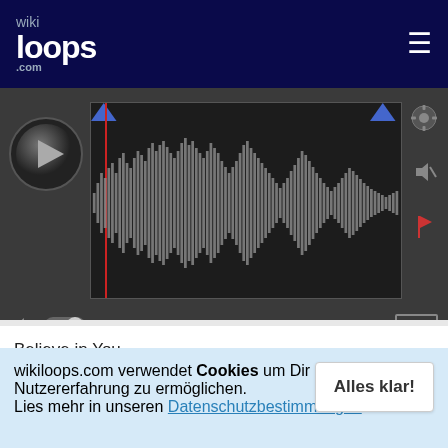[Figure (screenshot): wikiloops.com logo in dark navy header with hamburger menu icon]
[Figure (screenshot): Audio player with play button, waveform display showing audio track, time 00:00 to 03:51, 102 BPM, PUB badge, settings gear icon, mute button, and volume toggle]
Believe in You
Beautiful Day
wikiloops.com verwendet Cookies um Dir die beste Nutzererfahrung zu ermöglichen. Lies mehr in unseren Datenschutzbestimmungen .
Alles klar!